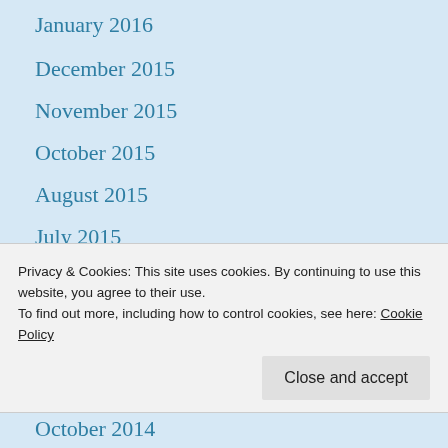January 2016
December 2015
November 2015
October 2015
August 2015
July 2015
June 2015
May 2015
April 2015
March 2015
Privacy & Cookies: This site uses cookies. By continuing to use this website, you agree to their use.
To find out more, including how to control cookies, see here: Cookie Policy
October 2014